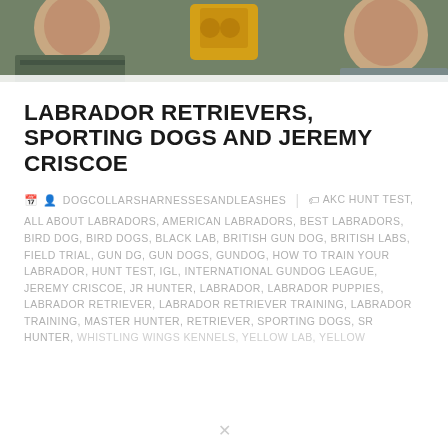[Figure (photo): Two people outdoors with a yellow bag/binoculars visible between them, green foliage background]
LABRADOR RETRIEVERS, SPORTING DOGS AND JEREMY CRISCOE
DOGCOLLARSHARNESSESANDLEASHES | AKC HUNT TEST, ALL ABOUT LABRADORS, AMERICAN LABRADORS, BEST LABRADORS, BIRD DOG, BIRD DOGS, BLACK LAB, BRITISH GUN DOG, BRITISH LABS, FIELD TRIAL, GUN DG, GUN DOGS, GUNDOG, HOW TO TRAIN YOUR LABRADOR, HUNT TEST, IGL, INTERNATIONAL GUNDOG LEAGUE, JEREMY CRISCOE, JR HUNTER, LABRADOR, LABRADOR PUPPIES, LABRADOR RETRIEVER, LABRADOR RETRIEVER TRAINING, LABRADOR TRAINING, MASTER HUNTER, RETRIEVER, SPORTING DOGS, SR HUNTER, WHISTLING WINGS KENNELS, YELLOW LAB, YELLOW...